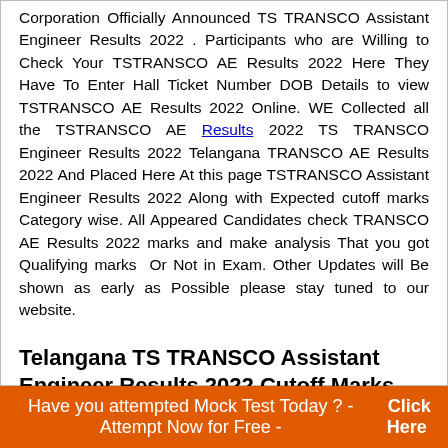Corporation Officially Announced TS TRANSCO Assistant Engineer Results 2022 . Participants who are Willing to Check Your TSTRANSCO AE Results 2022 Here They Have To Enter Hall Ticket Number DOB Details to view TSTRANSCO AE Results 2022 Online. WE Collected all the TSTRANSCO AE Results 2022 TS TRANSCO Engineer Results 2022 Telangana TRANSCO AE Results 2022 And Placed Here At this page TSTRANSCO Assistant Engineer Results 2022 Along with Expected cutoff marks Category wise. All Appeared Candidates check TRANSCO AE Results 2022 marks and make analysis That you got Qualifying marks Or Not in Exam. Other Updates will Be shown as early as Possible please stay tuned to our website.
Telangana TS TRANSCO Assistant Engineer Results 2022 Cutoff Marks Merit List
Have you attempted Mock Test Today ? - Attempt Now for Free - Click Here